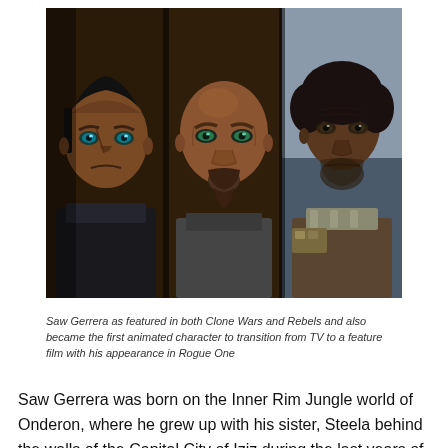[Figure (photo): Three versions of Saw Gerrera: two animated versions from Clone Wars and Rebels (left two panels), and one live-action version from Rogue One (right panel). All three faces shown in close-up.]
Saw Gerrera as featured in both Clone Wars and Rebels and also became the first animated character to transition from TV to a feature film with his appearance in Rogue One
Saw Gerrera was born on the Inner Rim Jungle world of Onderon, where he grew up with his sister, Steela behind the walls of the Capital City of Iziz during the last years of the Galactic Republic.  A Planet ruled by a Monarchy, when the